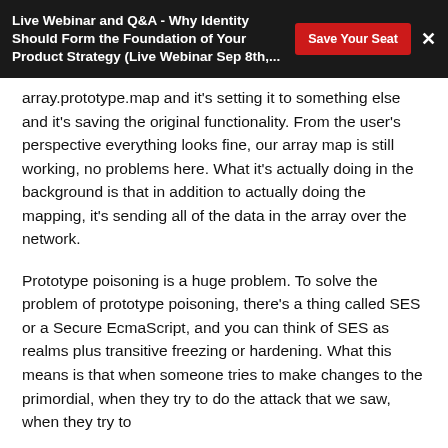Live Webinar and Q&A - Why Identity Should Form the Foundation of Your Product Strategy (Live Webinar Sep 8th,...
array.prototype.map and it's setting it to something else and it's saving the original functionality. From the user's perspective everything looks fine, our array map is still working, no problems here. What it's actually doing in the background is that in addition to actually doing the mapping, it's sending all of the data in the array over the network.
Prototype poisoning is a huge problem. To solve the problem of prototype poisoning, there's a thing called SES or a Secure EcmaScript, and you can think of SES as realms plus transitive freezing or hardening. What this means is that when someone tries to make changes to the primordial, when they try to do the attack that we saw, when they try to